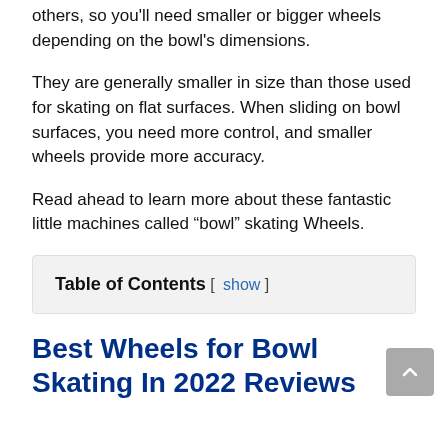others, so you'll need smaller or bigger wheels depending on the bowl's dimensions.
They are generally smaller in size than those used for skating on flat surfaces. When sliding on bowl surfaces, you need more control, and smaller wheels provide more accuracy.
Read ahead to learn more about these fantastic little machines called “bowl” skating Wheels.
Table of Contents [ show ]
Best Wheels for Bowl Skating In 2022 Reviews